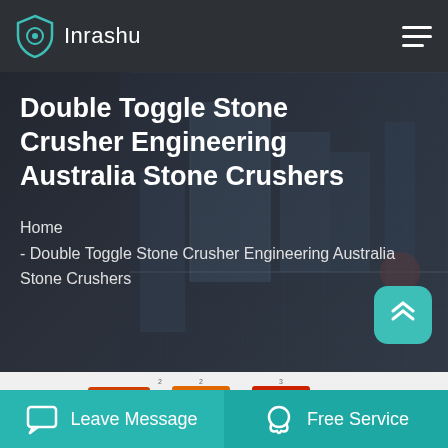Inrashu
Double Toggle Stone Crusher Engineering Australia Stone Crushers
Home
- Double Toggle Stone Crusher Engineering Australia Stone Crushers
[Figure (infographic): Process flow diagram showing stages: 原矿石 Raw ore → 振动给料机 Vibrating feeder → PE颚式破碎机 PE series jaw crusher → PEX颚式破碎机 PEX series jaw crusher → (二选一 Select one) → 干选辊 Dry selecting roller → 料仓, with Chinese and English labels for each stage]
Leave Message   Free Service